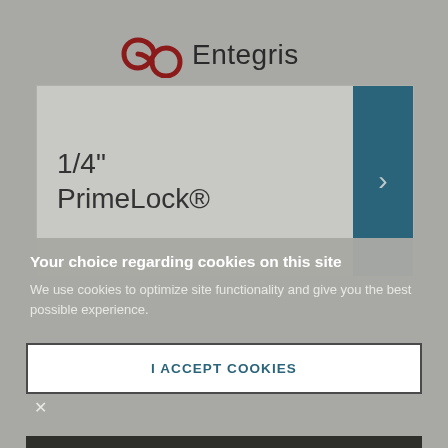[Figure (logo): Entegris company logo with red infinity-like swirl icon and dark text 'Entegris']
1/4"
PrimeLock®
Your choice regarding cookies on this site
We use cookies to optimize site functionality and give you the best possible experience.
I ACCEPT COOKIES
SETTINGS